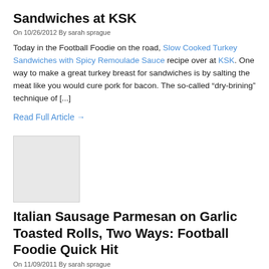Sandwiches at KSK
On 10/26/2012 By sarah sprague
Today in the Football Foodie on the road, Slow Cooked Turkey Sandwiches with Spicy Remoulade Sauce recipe over at KSK. One way to make a great turkey breast for sandwiches is by salting the meat like you would cure pork for bacon. The so-called “dry-brining” technique of [...]
Read Full Article →
[Figure (photo): Thumbnail image placeholder (light gray box)]
Italian Sausage Parmesan on Garlic Toasted Rolls, Two Ways: Football Foodie Quick Hit
On 11/09/2011 By sarah sprague
This week's San Diego Chargers versus Oakland Raiders match up